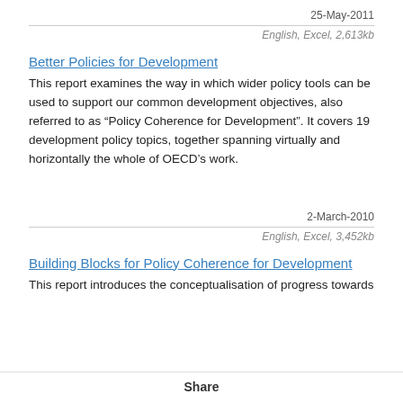25-May-2011
English, Excel, 2,613kb
Better Policies for Development
This report examines the way in which wider policy tools can be used to support our common development objectives, also referred to as “Policy Coherence for Development”. It covers 19 development policy topics, together spanning virtually and horizontally the whole of OECD’s work.
2-March-2010
English, Excel, 3,452kb
Building Blocks for Policy Coherence for Development
This report introduces the conceptualisation of progress towards
Share